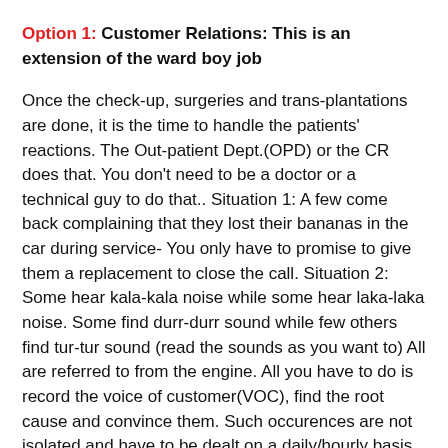Option 1: Customer Relations: This is an extension of the ward boy job
Once the check-up, surgeries and trans-plantations are done, it is the time to handle the patients' reactions. The Out-patient Dept.(OPD) or the CR does that. You don't need to be a doctor or a technical guy to do that.. Situation 1: A few come back complaining that they lost their bananas in the car during service- You only have to promise to give them a replacement to close the call. Situation 2: Some hear kala-kala noise while some hear laka-laka noise. Some find durr-durr sound while few others find tur-tur sound (read the sounds as you want to) All are referred to from the engine. All you have to do is record the voice of customer(VOC), find the root cause and convince them. Such occurences are not isolated and have to be dealt on a daily/hourly basis. This post for a quality person at the CR was later withdrawn due to managerial issues.